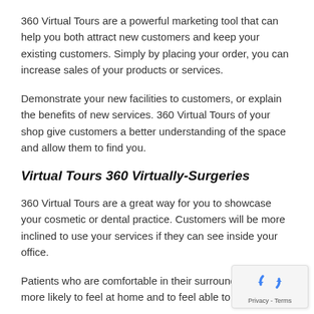360 Virtual Tours are a powerful marketing tool that can help you both attract new customers and keep your existing customers. Simply by placing your order, you can increase sales of your products or services.
Demonstrate your new facilities to customers, or explain the benefits of new services. 360 Virtual Tours of your shop give customers a better understanding of the space and allow them to find you.
Virtual Tours 360 Virtually-Surgeries
360 Virtual Tours are a great way for you to showcase your cosmetic or dental practice. Customers will be more inclined to use your services if they can see inside your office.
Patients who are comfortable in their surroundings will be more likely to feel at home and to feel able to relate to